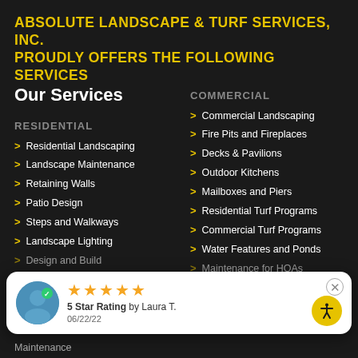ABSOLUTE LANDSCAPE & TURF SERVICES, INC. PROUDLY OFFERS THE FOLLOWING SERVICES
Our Services
RESIDENTIAL
Residential Landscaping
Landscape Maintenance
Retaining Walls
Patio Design
Steps and Walkways
Landscape Lighting
Design and Build
COMMERCIAL
Commercial Landscaping
Fire Pits and Fireplaces
Decks & Pavilions
Outdoor Kitchens
Mailboxes and Piers
Residential Turf Programs
Commercial Turf Programs
Water Features and Ponds
Maintenance for HOAs
5 Star Rating by Laura T. 06/22/22